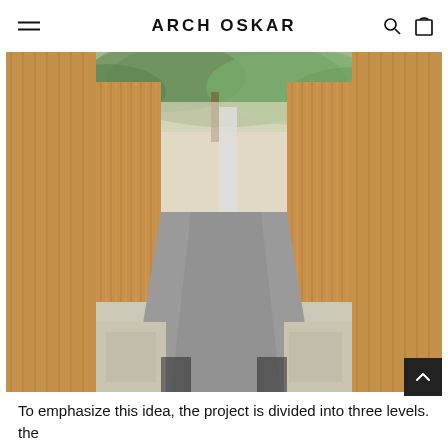ARCH OSKAR
[Figure (photo): Architectural corridor with tall vertical wood-slat panels on both sides forming a pathway, concrete floor, gravel borders, and trees visible above. The perspective leads the eye down the passage between modern wooden screens.]
To emphasize this idea, the project is divided into three levels. the